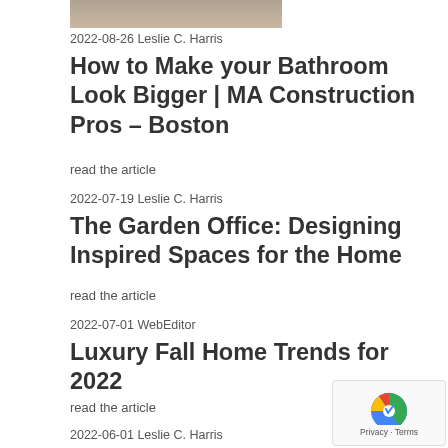[Figure (photo): Top portion of a bathroom or floor tile image, partially visible at top of page]
2022-08-26 Leslie C. Harris
How to Make your Bathroom Look Bigger | MA Construction Pros – Boston
read the article
2022-07-19 Leslie C. Harris
The Garden Office: Designing Inspired Spaces for the Home
read the article
2022-07-01 WebEditor
Luxury Fall Home Trends for 2022
read the article
2022-06-01 Leslie C. Harris
Why Cho... Do... In Th...